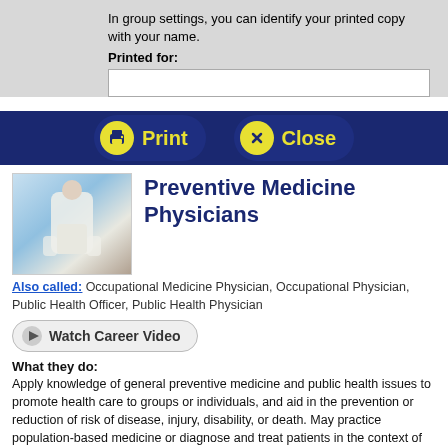In group settings, you can identify your printed copy with your name.
Printed for:
[Figure (other): Print and Close buttons on dark navy bar]
Preventive Medicine Physicians
Also called: Occupational Medicine Physician, Occupational Physician, Public Health Officer, Public Health Physician
[Figure (other): Watch Career Video button]
What they do:
Apply knowledge of general preventive medicine and public health issues to promote health care to groups or individuals, and aid in the prevention or reduction of risk of disease, injury, disability, or death. May practice population-based medicine or diagnose and treat patients in the context of clinical health promotion and disease prevention.
On the job, you would: